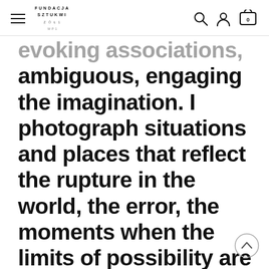FUNDACJA SZTUKNI (logo) | hamburger menu | search icon | user icon | cart icon (0)
evoking associations, ambiguous, engaging the imagination. I photograph situations and places that reflect the rupture in the world, the error, the moments when the limits of possibility are reached. I am watching the world that is watching me”